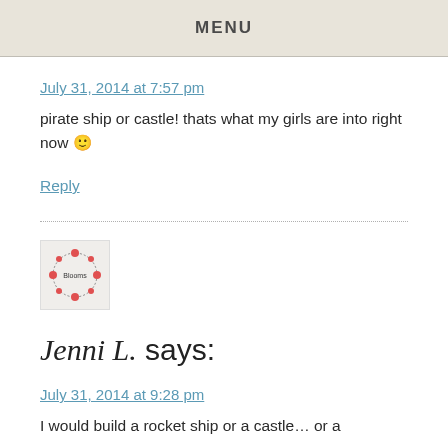MENU
July 31, 2014 at 7:57 pm
pirate ship or castle! thats what my girls are into right now 🙂
Reply
[Figure (photo): Small avatar image showing a wreath/circular logo for Jenni L.]
Jenni L. says:
July 31, 2014 at 9:28 pm
I would build a rocket ship or a castle… or a